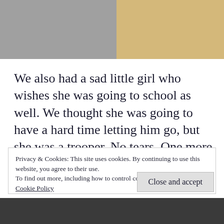[Figure (photo): Top portion of a photo showing a person in white clothing on the left side and a wooden surface on the right side]
We also had a sad little girl who wishes she was going to school as well. We thought she was going to have a hard time letting him go, but she was a trooper. No tears. One more year and she will be off to pre-school. I’m excited for her.
Privacy & Cookies: This site uses cookies. By continuing to use this website, you agree to their use.
To find out more, including how to control cookies, see here:
Cookie Policy
Close and accept
[Figure (photo): Bottom portion of a photo, dark tones, partially visible]